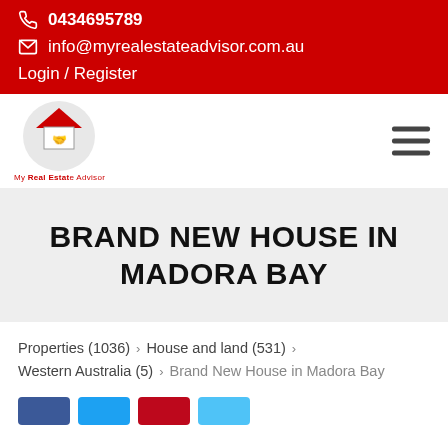0434695789
info@myrealestateadvisor.com.au
Login / Register
[Figure (logo): My Real Estate Advisor logo with handshake and house icon]
BRAND NEW HOUSE IN MADORA BAY
Properties (1036) > House and land (531) > Western Australia (5) > Brand New House in Madora Bay